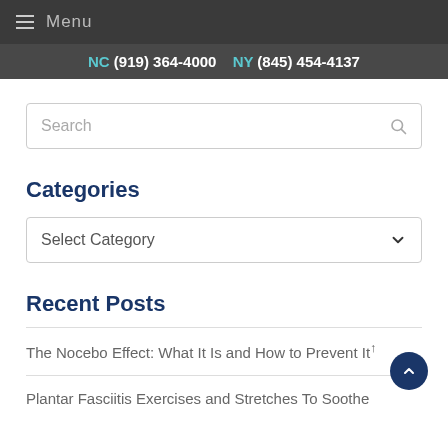≡ Menu
NC (919) 364-4000   NY (845) 454-4137
Search
Categories
Select Category
Recent Posts
The Nocebo Effect: What It Is and How to Prevent It
Plantar Fasciitis Exercises and Stretches To Soothe